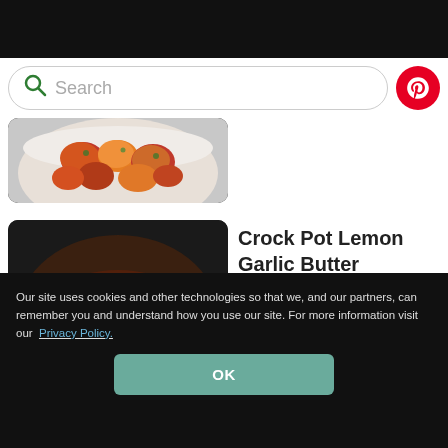[Figure (screenshot): Search bar with green magnifying glass icon and placeholder text 'Search', plus a red Pinterest circular button on the right]
[Figure (photo): Partial photo of roasted potatoes or similar food in a white bowl, cropped at top]
[Figure (photo): Crock pot lemon garlic butter chicken thighs with lemon slices, herbs, in a dark slow cooker]
Crock Pot Lemon Garlic Butter Chicken Thighs
Our site uses cookies and other technologies so that we, and our partners, can remember you and understand how you use our site. For more information visit our Privacy Policy.
OK